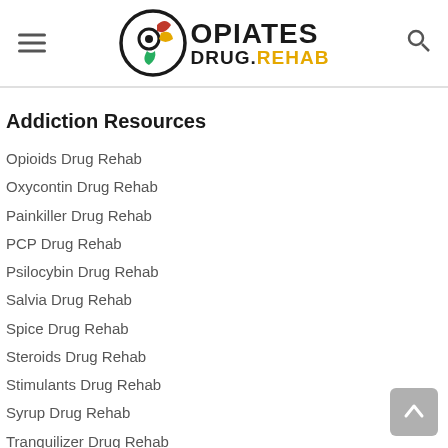OPIATES DRUG.REHAB
Addiction Resources
Opioids Drug Rehab
Oxycontin Drug Rehab
Painkiller Drug Rehab
PCP Drug Rehab
Psilocybin Drug Rehab
Salvia Drug Rehab
Spice Drug Rehab
Steroids Drug Rehab
Stimulants Drug Rehab
Syrup Drug Rehab
Tranquilizer Drug Rehab